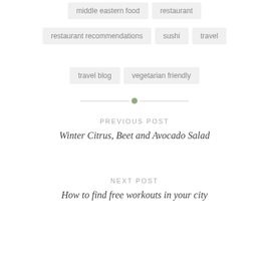middle eastern food
restaurant
restaurant recommendations
sushi
travel
travel blog
vegetarian friendly
PREVIOUS POST
Winter Citrus, Beet and Avocado Salad
NEXT POST
How to find free workouts in your city